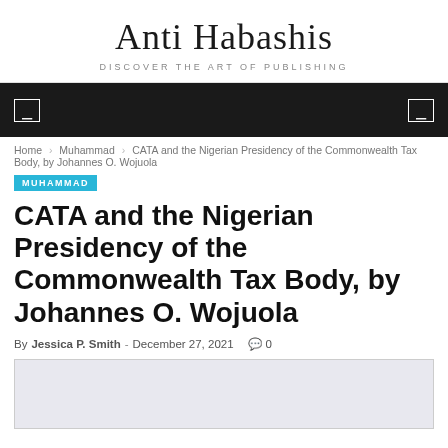Anti Habashis
DISCOVER THE ART OF PUBLISHING
Home › Muhammad › CATA and the Nigerian Presidency of the Commonwealth Tax Body, by Johannes O. Wojuola
MUHAMMAD
CATA and the Nigerian Presidency of the Commonwealth Tax Body, by Johannes O. Wojuola
By Jessica P. Smith - December 27, 2021  0
[Figure (photo): Light-colored background image, partially visible at the bottom of the page]